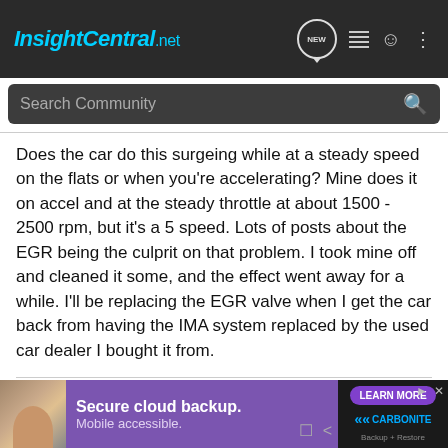InsightCentral.net — navigation header with search bar
Does the car do this surgeing while at a steady speed on the flats or when you're accelerating? Mine does it on accel and at the steady throttle at about 1500 - 2500 rpm, but it's a 5 speed. Lots of posts about the EGR being the culprit on that problem. I took mine off and cleaned it some, and the effect went away for a while. I'll be replacing the EGR valve when I get the car back from having the IMA system replaced by the used car dealer I bought it from.
Retired aircraft mechanic and former ASE Master Auto tech. Have always liked weird little cars like Opal GT, MGB & so forth.
[Figure (screenshot): Carbonite secure cloud backup advertisement banner with a child photo, purple background, and Learn More button]